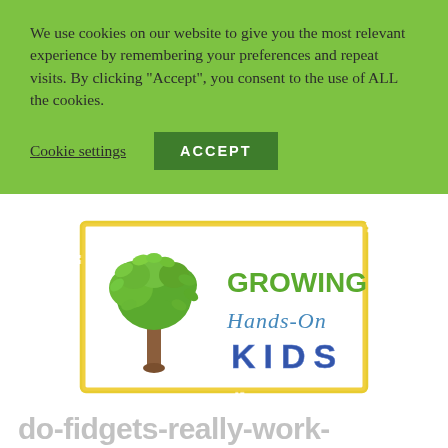We use cookies on our website to give you the most relevant experience by remembering your preferences and repeat visits. By clicking “Accept”, you consent to the use of ALL the cookies.
Cookie settings
ACCEPT
[Figure (logo): Growing Hands-On Kids logo featuring a tree with green leaves and brown trunk on the left, with text 'GROWING' in green, 'Hands-On' in mixed colors, and 'KIDS' in blue block letters, all inside a yellow hand-drawn border rectangle]
do-fidgets-really-work-